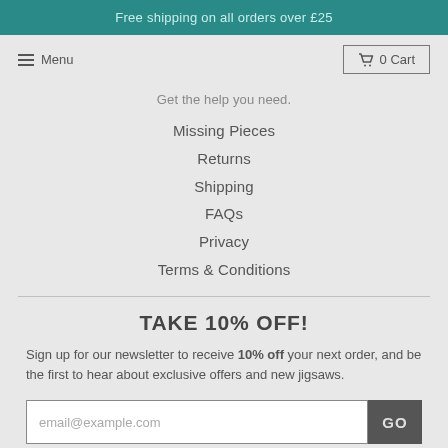Free shipping on all orders over £25
Menu
0 Cart
Get the help you need.
Missing Pieces
Returns
Shipping
FAQs
Privacy
Terms & Conditions
TAKE 10% OFF!
Sign up for our newsletter to receive 10% off your next order, and be the first to hear about exclusive offers and new jigsaws.
email@example.com